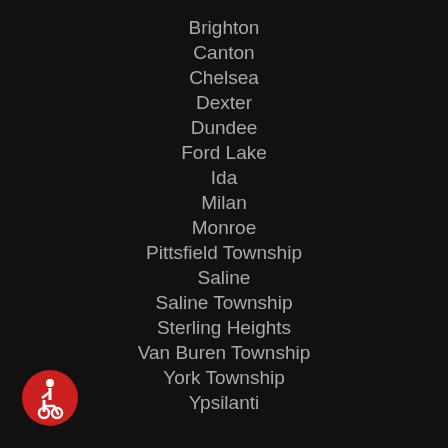Brighton
Canton
Chelsea
Dexter
Dundee
Ford Lake
Ida
Milan
Monroe
Pittsfield Township
Saline
Saline Township
Sterling Heights
Van Buren Township
York Township
Ypsilanti
[Figure (logo): Wheelchair accessibility icon — white figure in wheelchair on red circular background]